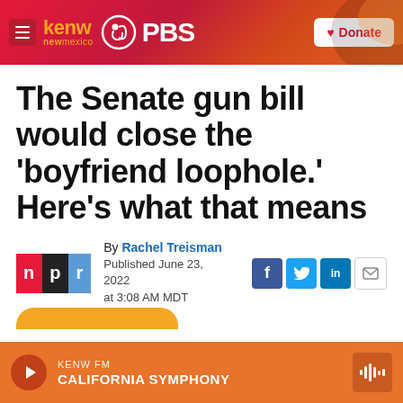kenw new mexico PBS | Donate
The Senate gun bill would close the 'boyfriend loophole.' Here's what that means
By Rachel Treisman
Published June 23, 2022 at 3:08 AM MDT
KENW FM | CALIFORNIA SYMPHONY